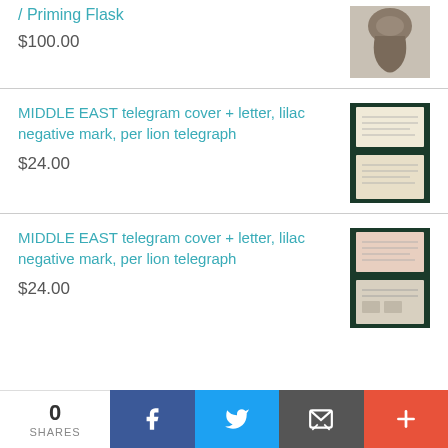/ Priming Flask
$100.00
MIDDLE EAST telegram cover + letter, lilac negative mark, per lion telegraph
$24.00
MIDDLE EAST telegram cover + letter, lilac negative mark, per lion telegraph
$24.00
0
SHARES